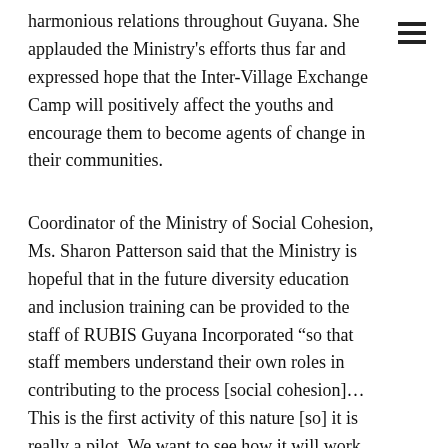harmonious relations throughout Guyana. She applauded the Ministry's efforts thus far and expressed hope that the Inter-Village Exchange Camp will positively affect the youths and encourage them to become agents of change in their communities.
Coordinator of the Ministry of Social Cohesion, Ms. Sharon Patterson said that the Ministry is hopeful that in the future diversity education and inclusion training can be provided to the staff of RUBIS Guyana Incorporated “so that staff members understand their own roles in contributing to the process [social cohesion]… This is the first activity of this nature [so] it is really a pilot. We want to see how it will work and take away learning from this, draw some best practices from this and see what could be strengthened.”